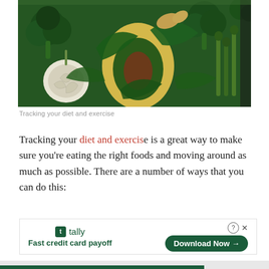[Figure (photo): Overhead photo of green vegetables including broccoli, avocado, garlic, asparagus, spinach, parsley, and ginger arranged together]
Tracking your diet and exercise
Tracking your diet and exercise is a great way to make sure you’re eating the right foods and moving around as much as possible. There are a number of ways that you can do this:
[Figure (infographic): Tally advertisement banner: logo with green icon, tagline 'Fast credit card payoff', and a 'Download Now' button with arrow on dark green rounded rectangle]